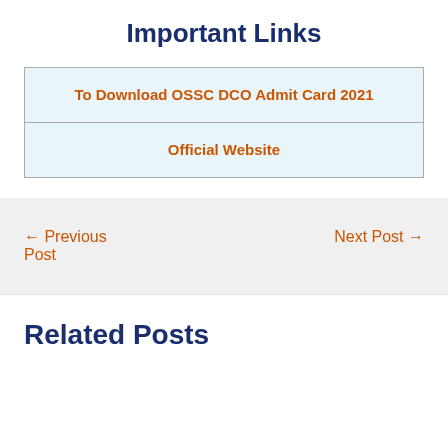Important Links
| To Download OSSC DCO Admit Card 2021 |
| Official Website |
← Previous Post
Next Post →
Related Posts